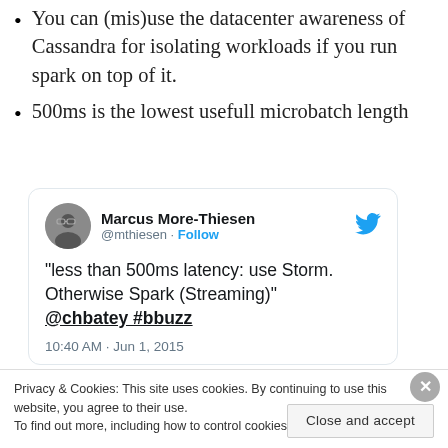You can (mis)use the datacenter awareness of Cassandra for isolating workloads if you run spark on top of it.
500ms is the lowest usefull microbatch length
[Figure (screenshot): Embedded tweet card from Marcus More-Thiesen (@mthiesen) with text: "less than 500ms latency: use Storm. Otherwise Spark (Streaming)" @chbatey #bbuzz, timestamped 10:40 AM · Jun 1, 2015]
Privacy & Cookies: This site uses cookies. By continuing to use this website, you agree to their use.
To find out more, including how to control cookies, see here: Cookie Policy
Close and accept